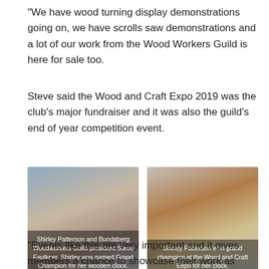“We have wood turning display demonstrations going on, we have scrolls saw demonstrations and a lot of our work from the Wood Workers Guild is here for sale too.
Steve said the Wood and Craft Expo 2019 was the club’s major fundraiser and it was also the guild’s end of year competition event.
[Figure (photo): Photo of a man at a woodworking expo with caption: Shirley Patterson and Bundaberg Woodworkers Guild president Steve Faulkner. Shirley was named Grand Champion for her wooden clock.]
[Figure (photo): Photo of a wooden clock at the Wood and Craft Expo with caption: Shirley Patterson won grand champion at the Wood and Craft Expo for her clock.]
“Events like this are very important and it gives members a chance to showcase their work as well,” he said.